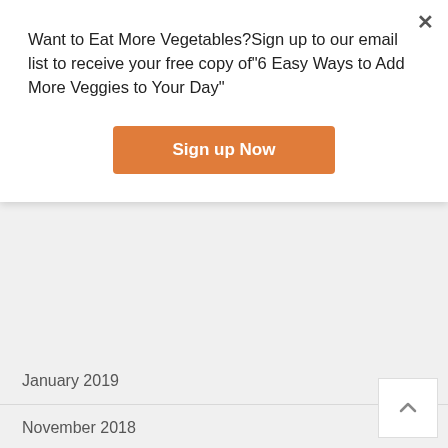Want to Eat More Vegetables?Sign up to our email list to receive your free copy of"6 Easy Ways to Add More Veggies to Your Day"
Sign up Now
January 2019
November 2018
September 2018
June 2018
March 2018
January 2018
December 2017